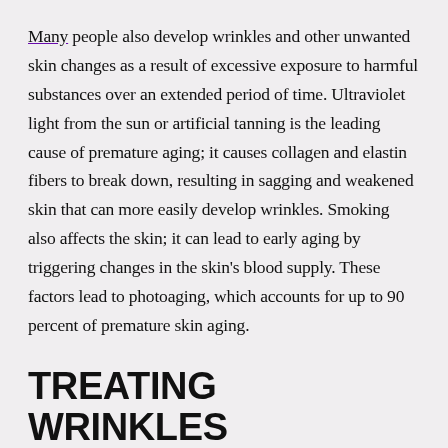Many people also develop wrinkles and other unwanted skin changes as a result of excessive exposure to harmful substances over an extended period of time. Ultraviolet light from the sun or artificial tanning is the leading cause of premature aging; it causes collagen and elastin fibers to break down, resulting in sagging and weakened skin that can more easily develop wrinkles. Smoking also affects the skin; it can lead to early aging by triggering changes in the skin's blood supply. These factors lead to photoaging, which accounts for up to 90 percent of premature skin aging.
TREATING WRINKLES AND FINE LINES